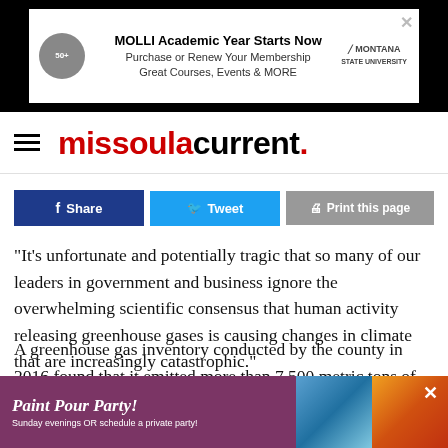[Figure (other): MOLLI Academic Year advertisement banner. Text: 'MOLLI Academic Year Starts Now', 'Purchase or Renew Your Membership', 'Great Courses, Events & MORE'. Montana logo visible on right.]
missoulacurrent.
[Figure (other): Social sharing buttons row: Facebook Share (dark blue), Tweet (light blue), Print this page (gray)]
“It’s unfortunate and potentially tragic that so many of our leaders in government and business ignore the overwhelming scientific consensus that human activity releasing greenhouse gases is causing changes in climate that are increasingly catastrophic.”
A greenhouse gas inventory conducted by the county in 2016 found that it emitted more than 7,500 metric tons of CO2 equivalent that year. Reducing that output by 30 percent by
[Figure (other): Paint Pour Party advertisement. Purple background with paint pour images. Text: 'Paint Pour Party!', 'Sunday evenings OR schedule a private party!']